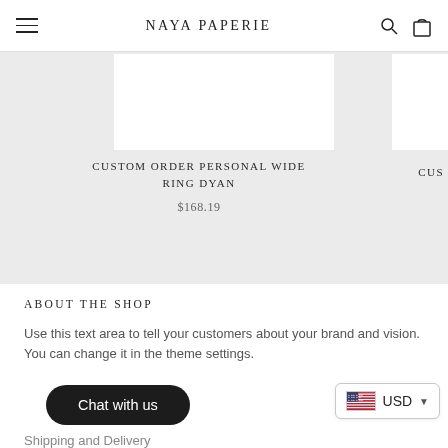NAYA PAPERIE
[Figure (photo): Product carousel area showing a white product image card for 'Custom Order Personal Wide Ring Dyan' on a light grey background, with a partial second card visible on the right edge]
CUSTOM ORDER PERSONAL WIDE RING DYAN
$168.19
ABOUT THE SHOP
Use this text area to tell your customers about your brand and vision. You can change it in the theme settings.
Chat with us
USD
Shipping and Delivery